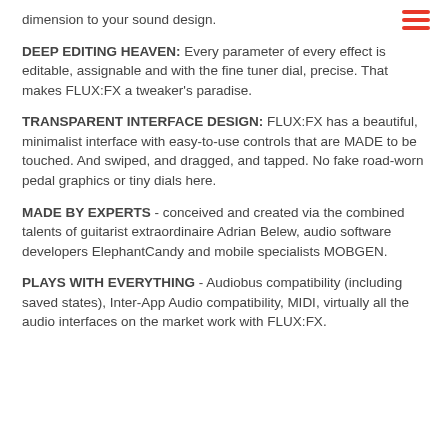dimension to your sound design.
DEEP EDITING HEAVEN: Every parameter of every effect is editable, assignable and with the fine tuner dial, precise. That makes FLUX:FX a tweaker's paradise.
TRANSPARENT INTERFACE DESIGN: FLUX:FX has a beautiful, minimalist interface with easy-to-use controls that are MADE to be touched. And swiped, and dragged, and tapped. No fake road-worn pedal graphics or tiny dials here.
MADE BY EXPERTS - conceived and created via the combined talents of guitarist extraordinaire Adrian Belew, audio software developers ElephantCandy and mobile specialists MOBGEN.
PLAYS WITH EVERYTHING - Audiobus compatibility (including saved states), Inter-App Audio compatibility, MIDI, virtually all the audio interfaces on the market work with FLUX:FX.